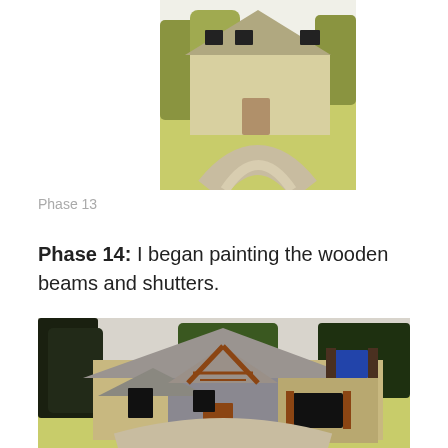[Figure (illustration): Top portion of a colored pencil/paint illustration of a house with yellow-green lawn, trees, and a driveway. The house has dark windows and is partially visible at the top of the page.]
Phase 13
Phase 14: I began painting the wooden beams and shutters.
[Figure (illustration): A colored pencil/paint illustration of a craftsman-style house with brown wooden beams and shutters, stone/brick facade, dark trees on the left, blue window on upper right, yellow-green lawn, and a driveway. The house features a prominent triangular gable with crossed wooden beams.]